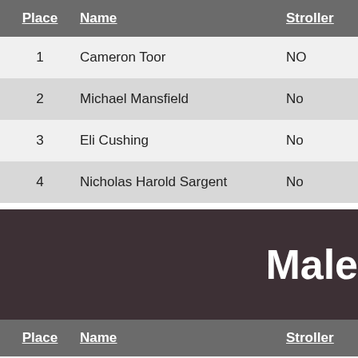| Place | Name | Stroller |
| --- | --- | --- |
| 1 | Cameron Toor | NO |
| 2 | Michael Mansfield | No |
| 3 | Eli Cushing | No |
| 4 | Nicholas Harold Sargent | No |
Male
| Place | Name | Stroller |
| --- | --- | --- |
| 1 | Samuel Ayres | NO |
| 2 | Will Fluharty | No |
| 3 | Michael Lambert | No |
| 4 | Christofer Gass | No |
| 5 | Joshua Hartwell | No |
| 6 | Timothy Goodwin | NO |